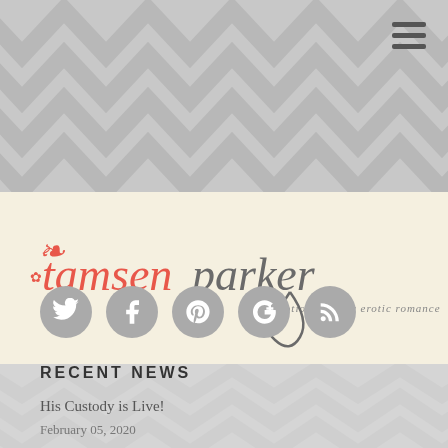[Figure (screenshot): Chevron zigzag pattern background at top of website page]
[Figure (logo): Tamsen Parker logo with script font and tagline 'emotionally raw erotic romance' on cream background]
[Figure (infographic): Social media icons: Twitter, Facebook, Pinterest, Google+, RSS feed - gray circular buttons]
RECENT NEWS
His Custody is Live!
February 05, 2020